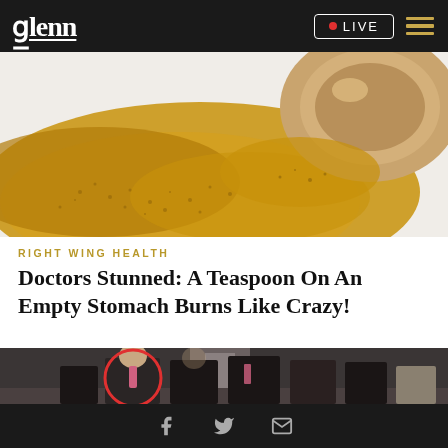glenn | LIVE
[Figure (photo): Close-up photo of golden spice powder spilling from a wooden spoon onto a white background]
RIGHT WING HEALTH
Doctors Stunned: A Teaspoon On An Empty Stomach Burns Like Crazy!
[Figure (photo): Group photo of people in formal attire, one person circled in red on the left side]
Facebook | Twitter | Email